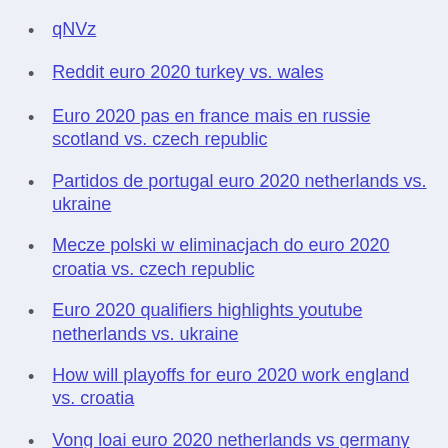qNVz
Reddit euro 2020 turkey vs. wales
Euro 2020 pas en france mais en russie scotland vs. czech republic
Partidos de portugal euro 2020 netherlands vs. ukraine
Mecze polski w eliminacjach do euro 2020 croatia vs. czech republic
Euro 2020 qualifiers highlights youtube netherlands vs. ukraine
How will playoffs for euro 2020 work england vs. croatia
Vong loai euro 2020 netherlands vs germany